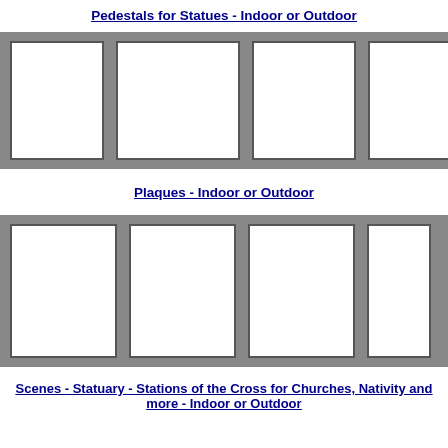Pedestals for Statues - Indoor or Outdoor
[Figure (photo): A horizontal gallery strip with a gray background containing four white rectangular image placeholder boxes arranged side by side.]
Plaques - Indoor or Outdoor
[Figure (photo): A horizontal gallery strip with a gray background containing four white rectangular image placeholder boxes arranged side by side.]
Scenes - Statuary - Stations of the Cross for Churches, Nativity and more - Indoor or Outdoor